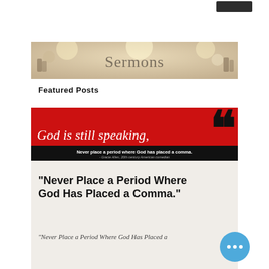[Figure (screenshot): Dark button in top right corner of webpage]
[Figure (photo): Sermons banner image with blurred bokeh background and word 'Sermons' in serif font]
Featured Posts
[Figure (infographic): Red and black graphic with large comma, text 'God is still speaking,' in white on red background, and 'Never place a period where God has placed a comma.' on black background]
"Never Place a Period Where God Has Placed a Comma."
"Never Place a Period Where God Has Placed a